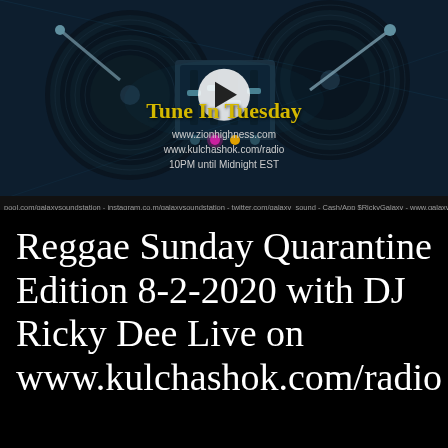[Figure (screenshot): Video thumbnail showing DJ turntable equipment with a play button overlay. Text overlay reads 'Tune In Tuesday' with URLs www.zionhighness.com, www.kulchashok.com/radio, and '10PM until Midnight EST']
pool.com/galaxysoundstation - instagram.co.m/galaxysoundstation - twitter.com/galaxy_sound - Cash/App $RickyGalaxy - www.galaxysoundstation.com - facet
Reggae Sunday Quarantine Edition 8-2-2020 with DJ Ricky Dee Live on www.kulchashok.com/radio